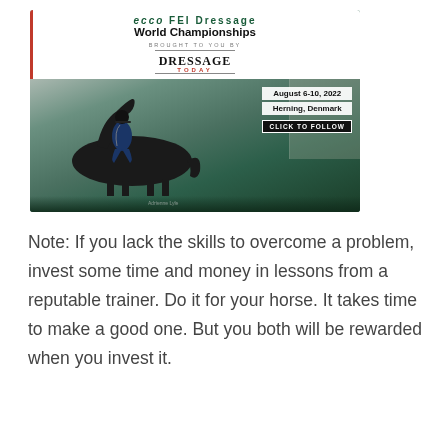[Figure (illustration): Advertisement for ECCO FEI Dressage World Championships, August 6-10, 2022, Herning, Denmark. Brought to you by Dressage Today. Features a rider on a black horse, with a Click to Follow button. Sponsored by Vita Flex Pro. Photographer credited as Adrienne Lyle.]
Note: If you lack the skills to overcome a problem, invest some time and money in lessons from a reputable trainer. Do it for your horse. It takes time to make a good one. But you both will be rewarded when you invest it.